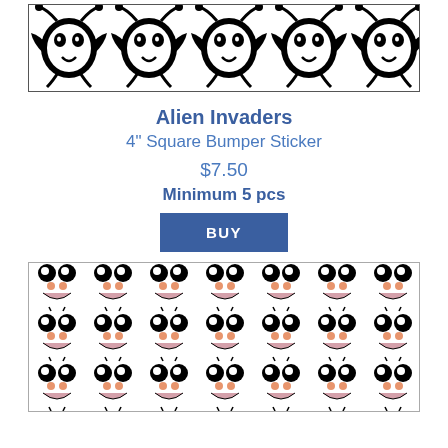[Figure (illustration): Black and white alien invader pattern repeating tile — symmetrical alien/insect motifs in black on white background, arranged in a horizontal strip]
Alien Invaders
4" Square Bumper Sticker
$7.50
Minimum 5 pcs
BUY
[Figure (illustration): Cute cartoon face pattern repeating tile — smiling faces with round eyes, rosy cheeks in peach/salmon color, arranged in rows on white background]